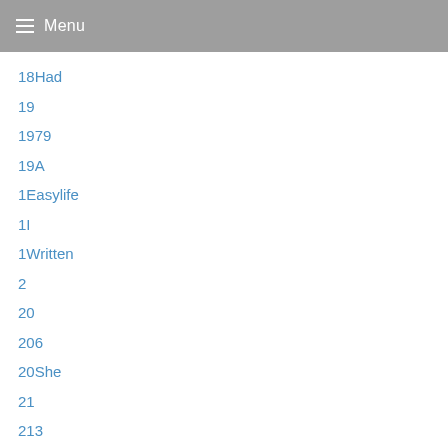Menu
18Had
19
1979
19A
1Easylife
1I
1Written
2
20
206
20She
21
213
2146
21Going
22